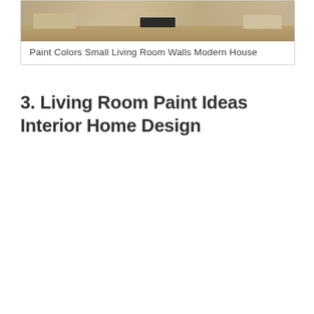[Figure (photo): Photo of a modern living room interior with beige/tan sofas, a dark coffee table, and hardwood flooring. The room has neutral warm tones.]
Paint Colors Small Living Room Walls Modern House
3. Living Room Paint Ideas Interior Home Design